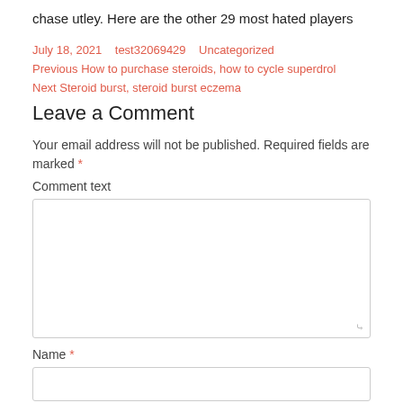chase utley. Here are the other 29 most hated players
July 18, 2021   test32069429   Uncategorized
Previous How to purchase steroids, how to cycle superdrol
Next Steroid burst, steroid burst eczema
Leave a Comment
Your email address will not be published. Required fields are marked *
Comment text
Name *